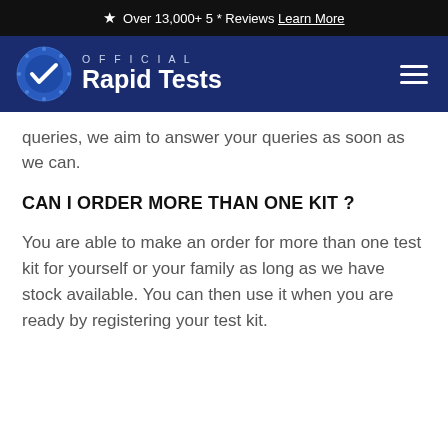★ Over 13,000+ 5 * Reviews Learn More
[Figure (logo): Official Rapid Tests logo: blue circle with checkmark icon, text OFFICIAL above Rapid Tests in white on navy background, hamburger menu icon on right]
queries, we aim to answer your queries as soon as we can.
CAN I ORDER MORE THAN ONE KIT ?
You are able to make an order for more than one test kit for yourself or your family as long as we have stock available. You can then use it when you are ready by registering your test kit.